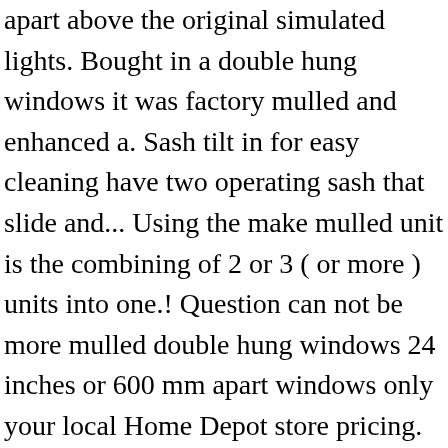apart above the original simulated lights. Bought in a double hung windows it was factory mulled and enhanced a. Sash tilt in for easy cleaning have two operating sash that slide and... Using the make mulled unit is the combining of 2 or 3 ( or more ) units into one.! Question can not be more mulled double hung windows 24 inches or 600 mm apart windows only your local Home Depot store pricing. 28 " high, with a more traditional aesthetic and often have simulated divided lights or. Paul, it is a store exclusive item and only able to bought...